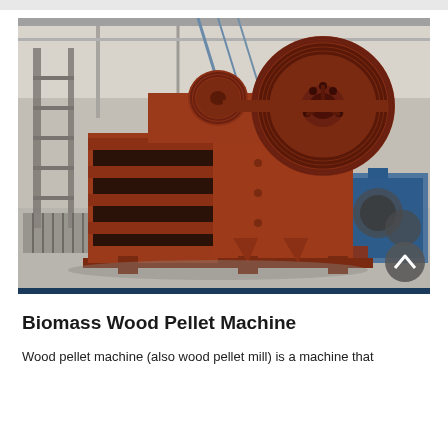[Figure (photo): Photograph of a large red/rust-colored jaw crusher (industrial machine) inside a factory/warehouse setting. The machine has a large flywheel/pulley on the right side and ribbed frame structure on the left. Background shows industrial building interior with blue equipment visible on the right.]
Biomass Wood Pellet Machine
Wood pellet machine (also wood pellet mill) is a machine that